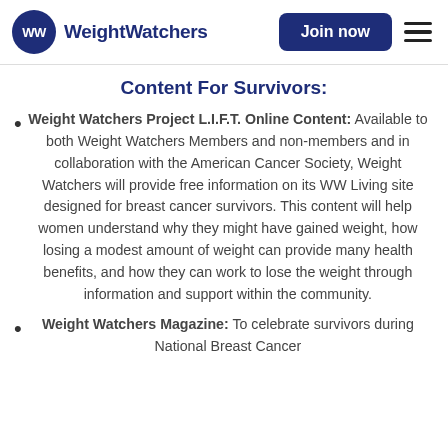WeightWatchers | Join now
Content For Survivors:
Weight Watchers Project L.I.F.T. Online Content: Available to both Weight Watchers Members and non-members and in collaboration with the American Cancer Society, Weight Watchers will provide free information on its WW Living site designed for breast cancer survivors. This content will help women understand why they might have gained weight, how losing a modest amount of weight can provide many health benefits, and how they can work to lose the weight through information and support within the community.
Weight Watchers Magazine: To celebrate survivors during National Breast Cancer